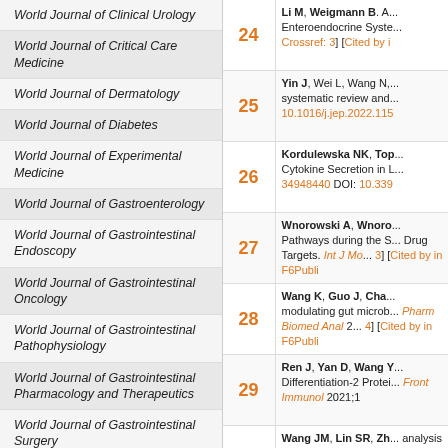World Journal of Clinical Urology
World Journal of Critical Care Medicine
World Journal of Dermatology
World Journal of Diabetes
World Journal of Experimental Medicine
World Journal of Gastroenterology
World Journal of Gastrointestinal Endoscopy
World Journal of Gastrointestinal Oncology
World Journal of Gastrointestinal Pathophysiology
World Journal of Gastrointestinal Pharmacology and Therapeutics
World Journal of Gastrointestinal Surgery
World Journal of Hematology
World Journal of Hepatology
World Journal of Hypertension
World Journal of Immunology
World Journal of Medical Genetics
24 Li M, Weigmann B. A... Enteroendocrine Syste... Crossref: 3] [Cited by in
25 Yin J, Wei L, Wang N,... systematic review and... 10.1016/j.jep.2022.115
26 Kordulewska NK, Top... Cytokine Secretion in L... 34948440 DOI: 10.339
27 Wnorowski A, Wnoro... Pathways during the S... Drug Targets. Int J Mo... 3] [Cited by in F6Publi
28 Wang K, Guo J, Cha... modulating gut microb... Pharm Biomed Anal 2... 4] [Cited by in F6Publi
29 Ren J, Yan D, Wang Y... Differentiation-2 Protei... Front Immunol 2021;1
30 Wang JM, Lin SR, Zh... analysis of lysine acet